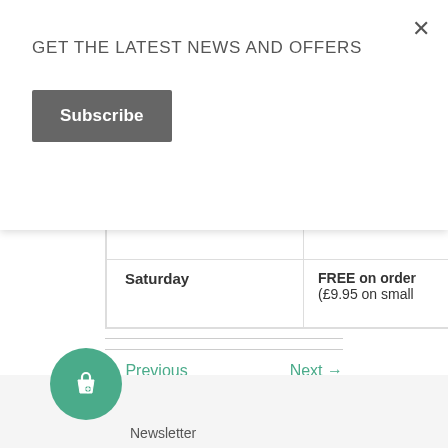GET THE LATEST NEWS AND OFFERS
Subscribe
| Day | Price |
| --- | --- |
| Weekday | (£4.95 on small |
| Saturday | FREE on order
(£9.95 on small |
← Previous
Next →
Newsletter